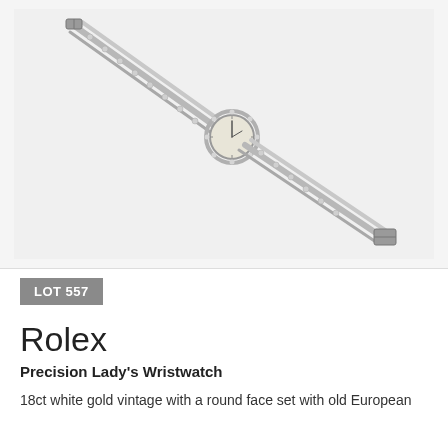[Figure (photo): Vintage Rolex Precision Lady's Wristwatch in 18ct white gold, shown diagonally against a white/light grey background. The watch has a round face set with old European cut diamonds along the bracelet, with the bracelet extending diagonally from upper-left to lower-right.]
LOT 557
Rolex
Precision Lady's Wristwatch
18ct white gold vintage with a round face set with old European